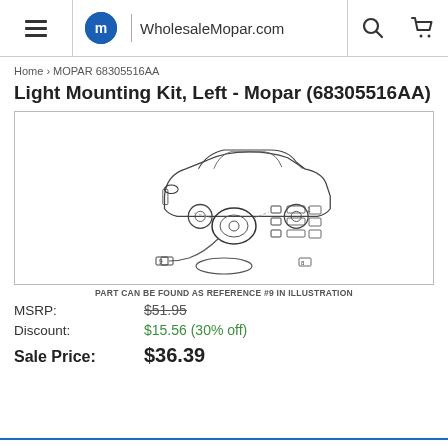WholesaleMopar.com
Home > MOPAR 68305516AA
Light Mounting Kit, Left - Mopar (68305516AA)
[Figure (engineering-diagram): Exploded parts diagram showing a car (SUV/crossover) with highlighted front light assembly and individual mounting kit components labeled with reference numbers. Part #9 is indicated.]
PART CAN BE FOUND AS REFERENCE #9 IN ILLUSTRATION
MSRP: $51.95
Discount: $15.56 (30% off)
Sale Price: $36.39